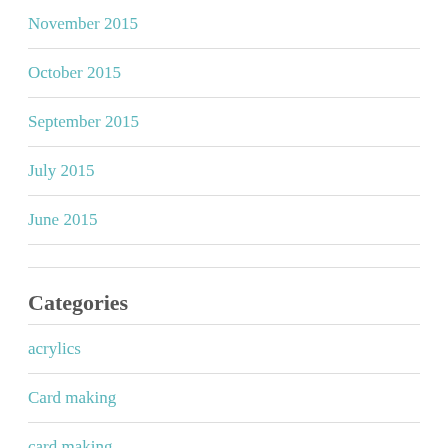November 2015
October 2015
September 2015
July 2015
June 2015
Categories
acrylics
Card making
card making